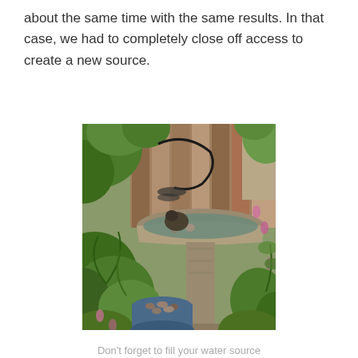about the same time with the same results. In that case, we had to completely close off access to create a new source.
[Figure (photo): A bird bath with a decorative metal dragonfly sculpture, filled with water and stones, surrounded by lush green garden plants and pink flowers, with a wooden fence in the background. A small blue pot with pebbles sits at the base.]
Don't forget to fill your water source